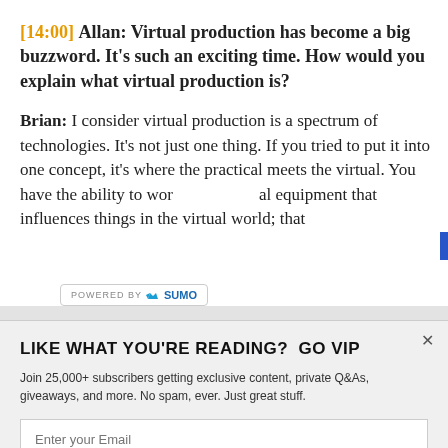[14:00] Allan: Virtual production has become a big buzzword. It's such an exciting time. How would you explain what virtual production is?
Brian: I consider virtual production is a spectrum of technologies. It's not just one thing. If you tried to put it into one concept, it's where the practical meets the virtual. You have the ability to work with practical equipment that influences things in the virtual world; that
LIKE WHAT YOU'RE READING? GO VIP
Join 25,000+ subscribers getting exclusive content, private Q&As, giveaways, and more. No spam, ever. Just great stuff.